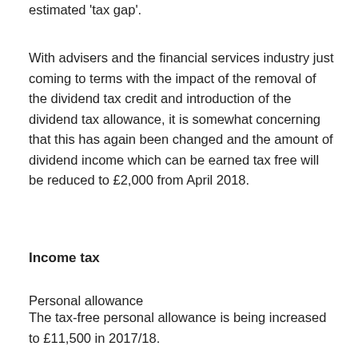estimated 'tax gap'.
With advisers and the financial services industry just coming to terms with the impact of the removal of the dividend tax credit and introduction of the dividend tax allowance, it is somewhat concerning that this has again been changed and the amount of dividend income which can be earned tax free will be reduced to £2,000 from April 2018.
Income tax
Personal allowance
The tax-free personal allowance is being increased to £11,500 in 2017/18.